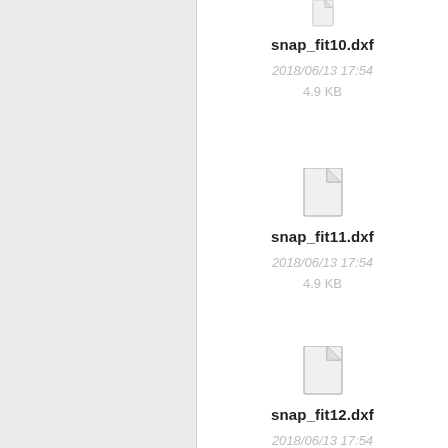[Figure (screenshot): File browser screenshot showing DXF files: snap_fit10.dxf, snap_fit11.dxf, snap_fit12.dxf with dates 2018/06/13 17:54 and size 4.9 KB each]
snap_fit10.dxf
2018/06/13 17:54
4.9 KB
snap_fit11.dxf
2018/06/13 17:54
4.9 KB
snap_fit12.dxf
2018/06/13 17:54